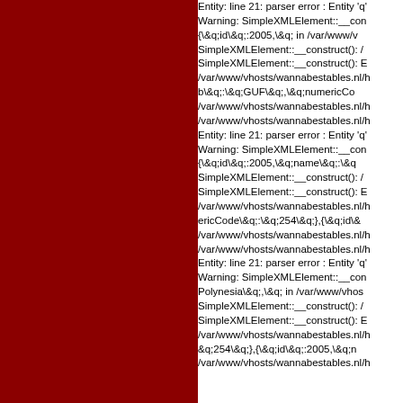[Figure (other): Dark red/maroon colored left panel background]
Entity: line 21: parser error : Entity 'q'
Warning: SimpleXMLElement::__con
{\&q;id\&q;:2005,\&q; in /var/www/v
SimpleXMLElement::__construct(): /
SimpleXMLElement::__construct(): E
/var/www/vhosts/wannabestables.nl/h
b\&q;:\&q;GUF\&q;,\&q;numericCo
/var/www/vhosts/wannabestables.nl/h
/var/www/vhosts/wannabestables.nl/h
Entity: line 21: parser error : Entity 'q'
Warning: SimpleXMLElement::__con
{\&q;id\&q;:2005,\&q;name\&q;:\&q
SimpleXMLElement::__construct(): /
SimpleXMLElement::__construct(): E
/var/www/vhosts/wannabestables.nl/h
ericCode\&q;:\&q;254\&q;},{\&q;id\&
/var/www/vhosts/wannabestables.nl/h
/var/www/vhosts/wannabestables.nl/h
Entity: line 21: parser error : Entity 'q'
Warning: SimpleXMLElement::__con
Polynesia\&q;,\&q; in /var/www/vhos
SimpleXMLElement::__construct(): /
SimpleXMLElement::__construct(): E
/var/www/vhosts/wannabestables.nl/h
&q;254\&q;},{\&q;id\&q;:2005,\&q;n
/var/www/vhosts/wannabestables.nl/h